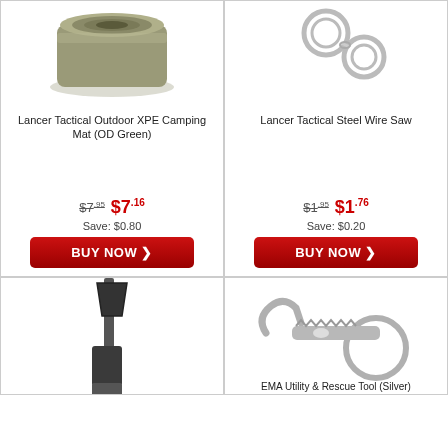[Figure (photo): Lancer Tactical Outdoor XPE Camping Mat in OD Green, rolled up]
Lancer Tactical Outdoor XPE Camping Mat (OD Green)
$7.95  $7.16
Save: $0.80
BUY NOW
[Figure (photo): Lancer Tactical Steel Wire Saw with key rings]
Lancer Tactical Steel Wire Saw
$1.95  $1.76
Save: $0.20
BUY NOW
[Figure (photo): Black folding shovel/entrenching tool, partially visible]
[Figure (photo): EMA Utility & Rescue Tool (Silver), knuckle duster style tool]
EMA Utility & Rescue Tool (Silver)